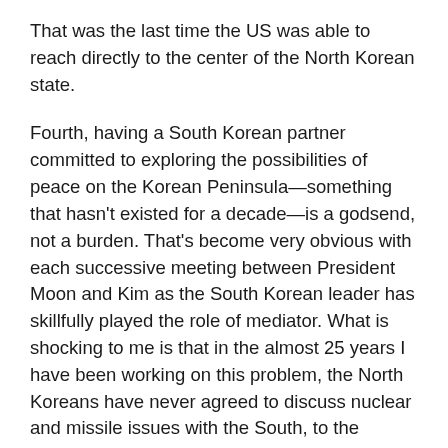That was the last time the US was able to reach directly to the center of the North Korean state.
Fourth, having a South Korean partner committed to exploring the possibilities of peace on the Korean Peninsula—something that hasn't existed for a decade—is a godsend, not a burden. That's become very obvious with each successive meeting between President Moon and Kim as the South Korean leader has skillfully played the role of mediator. What is shocking to me is that in the almost 25 years I have been working on this problem, the North Koreans have never agreed to discuss nuclear and missile issues with the South, to the frustration of past Korean presidents who wanted to single-handedly solve this problem. But now, Kim is not only discussing these issues with President Moon, but he is also starting to unveil his negotiating position towards the United States. That's how we should read